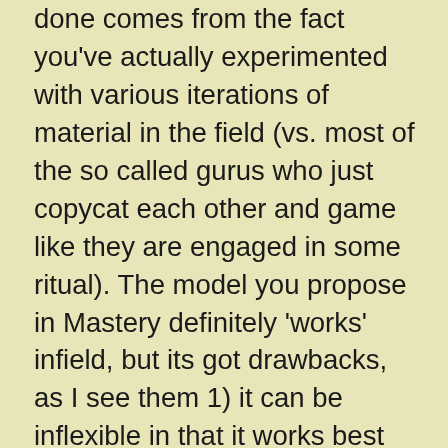done comes from the fact you've actually experimented with various iterations of material in the field (vs. most of the so called gurus who just copycat each other and game like they are engaged in some ritual). The model you propose in Mastery definitely 'works' infield, but its got drawbacks, as I see them 1) it can be inflexible in that it works best on a certain type of girl in a certain context [foreign girl with time on her hands in the daytime, bonus is she has outsider status] 2) it can be unwieldy to use as its so material heavy 3) it